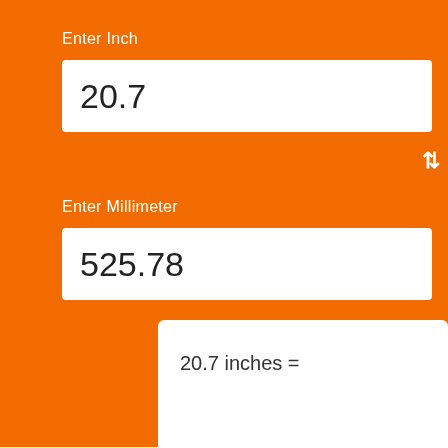Enter Inch
20.7
Enter Millimeter
525.78
20.7 inches =